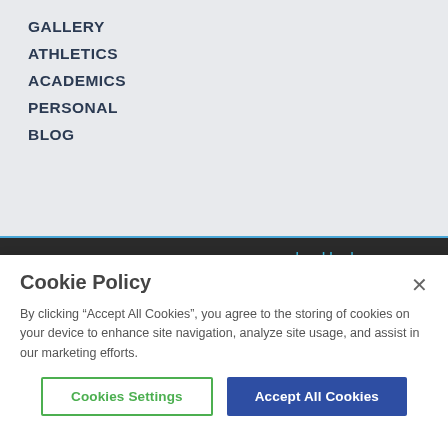GALLERY
ATHLETICS
ACADEMICS
PERSONAL
BLOG
Ice Hockey
Lacrosse
Rowing
Soccer
Softball
Swimming
Cookie Policy
By clicking “Accept All Cookies”, you agree to the storing of cookies on your device to enhance site navigation, analyze site usage, and assist in our marketing efforts.
Cookies Settings
Accept All Cookies